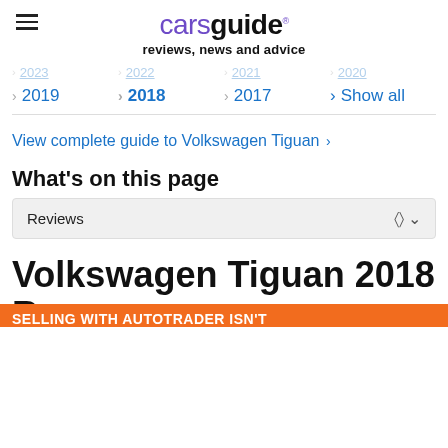carsguide reviews, news and advice
2023  2022  2021  2020
2019  2018  2017  Show all
View complete guide to Volkswagen Tiguan >
What's on this page
Reviews
Volkswagen Tiguan 2018 Re… SELLING WITH AUTOTRADER ISN'T